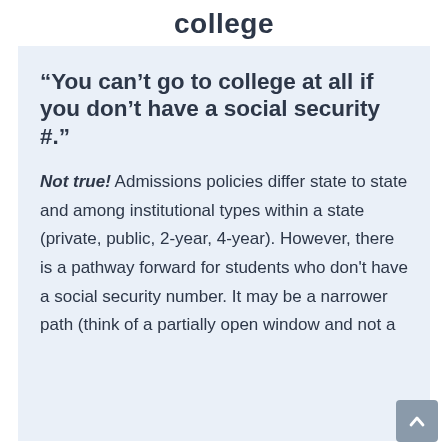college
“You can’t go to college at all if you don’t have a social security #.”
Not true! Admissions policies differ state to state and among institutional types within a state (private, public, 2-year, 4-year). However, there is a pathway forward for students who don’t have a social security number. It may be a narrower path (think of a partially open window and not a